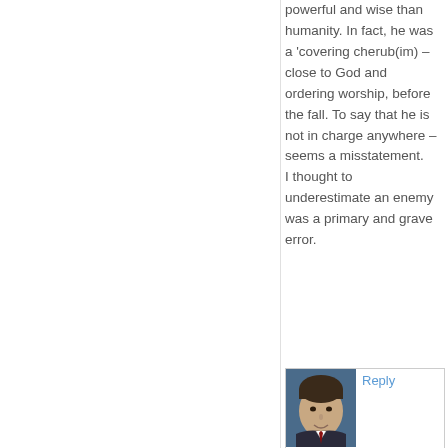powerful and wise than humanity. In fact, he was a 'covering cherub(im) – close to God and ordering worship, before the fall. To say that he is not in charge anywhere – seems a misstatement.
I thought to underestimate an enemy was a primary and grave error.
[Figure (photo): Small profile photo of a man in a suit, partially visible, next to a Reply link]